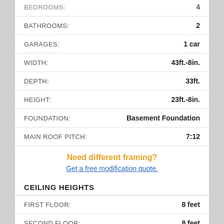| Field | Value |
| --- | --- |
| BEDROOMS: | 4 |
| BATHROOMS: | 2 |
| GARAGES: | 1 car |
| WIDTH: | 43ft.-8in. |
| DEPTH: | 33ft. |
| HEIGHT: | 23ft.-8in. |
| FOUNDATION: | Basement Foundation |
| MAIN ROOF PITCH: | 7:12 |
Need different framing? Get a free modification quote.
CEILING HEIGHTS
| Field | Value |
| --- | --- |
| FIRST FLOOR: | 8 feet |
| SECOND FLOOR: | 8 feet |